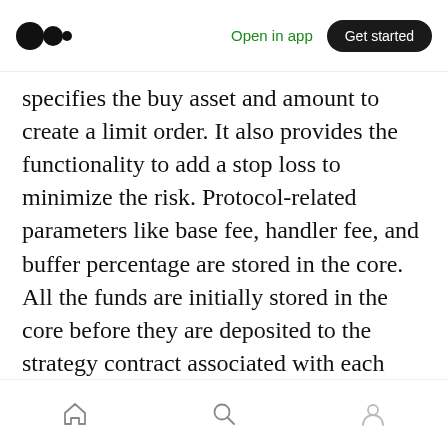Medium app header — logo, Open in app, Get started
specifies the buy asset and amount to create a limit order. It also provides the functionality to add a stop loss to minimize the risk. Protocol-related parameters like base fee, handler fee, and buffer percentage are stored in the core. All the funds are initially stored in the core before they are deposited to the strategy contract associated with each asset. The buffer funds for all assets are stored in the core and can be rebalanced if meeting pre-defined conditions. This mechanism allows the protocol to save a lot of gas at the
Bottom navigation bar — home, search, profile icons